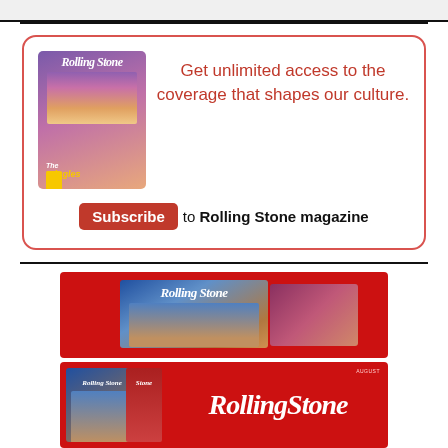[Figure (screenshot): Top grey bar area of a webpage]
[Figure (infographic): Rolling Stone magazine subscription promo box with magazine cover image showing The Wiggles, red border, text 'Get unlimited access to the coverage that shapes our culture.' and Subscribe button]
Get unlimited access to the coverage that shapes our culture.
Subscribe to Rolling Stone magazine
[Figure (photo): Rolling Stone magazine covers displayed on red background banner]
[Figure (photo): Rolling Stone magazine logo on red background banner with magazine cover]